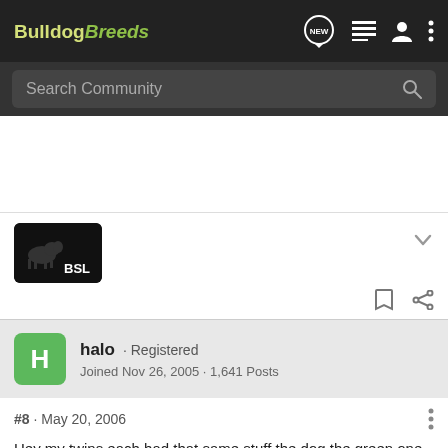BulldogBreeds — navigation bar with NEW, list, user, and menu icons
Search Community
[Figure (illustration): BSL logo image — dark background with illustrated dogs and text BSL]
halo · Registered
Joined Nov 26, 2005 · 1,641 Posts
#8 · May 20, 2006
Hey my twins each had that same stuff the dog the green one